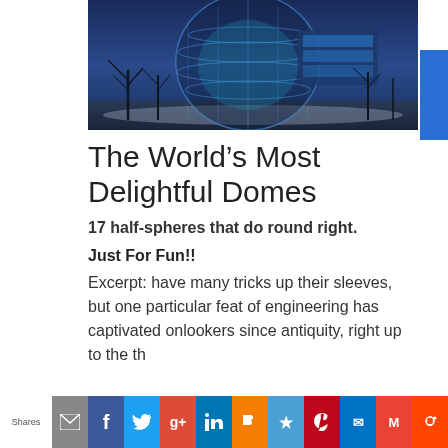[Figure (photo): Nighttime photo of a large geodesic dome structure lit with blue lights, with bare trees in the foreground and snow on the ground, under a dark blue twilight sky.]
The World’s Most Delightful Domes
17 half-spheres that do round right.
Just For Fun!!
Excerpt: have many tricks up their sleeves, but one particular feat of engineering has captivated onlookers since antiquity, right up to the th
Shares | email | Facebook | Twitter | Google+ | LinkedIn | Blogger | Bookmark | Pinterest | Outlook | Gmail | Reddit